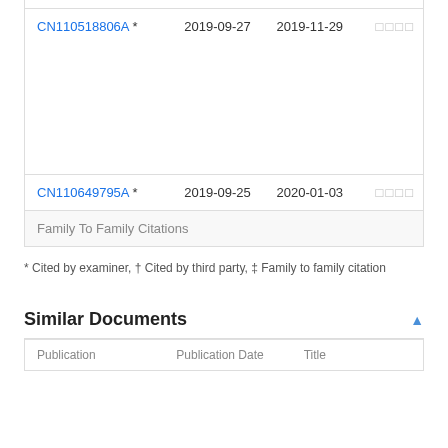| Publication | Priority Date | Publication Date | Assignee |
| --- | --- | --- | --- |
| CN110518806A * | 2019-09-27 | 2019-11-29 | □□□□ |
| CN110649795A * | 2019-09-25 | 2020-01-03 | □□□□ |
| Family To Family Citations |  |  |  |
* Cited by examiner, † Cited by third party, ‡ Family to family citation
Similar Documents
| Publication | Publication Date | Title |
| --- | --- | --- |